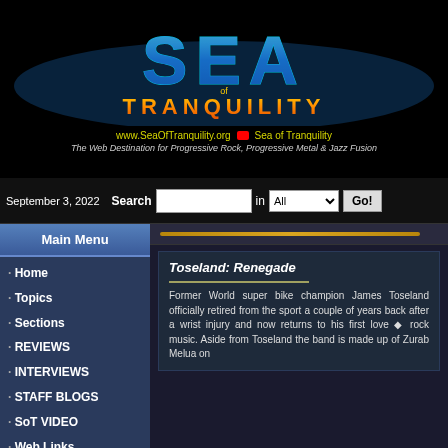[Figure (logo): Sea of Tranquility website logo banner with colorful SEA text in blue/teal, TRANQUILITY in orange, URL www.SeaOfTranquility.org and tagline]
September 3, 2022  Search [input] in All [Go!]
Main Menu
Home
Topics
Sections
REVIEWS
INTERVIEWS
STAFF BLOGS
SoT VIDEO
Web Links
Submit News
Toseland: Renegade
Former World super bike champion James Toseland officially retired from the sport a couple of years back after a wrist injury and now returns to his first love ♦ rock music. Aside from Toseland the band is made up of Zurab Melua on